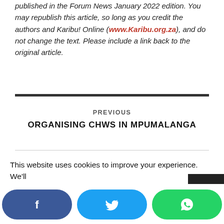published in the Forum News January 2022 edition. You may republish this article, so long as you credit the authors and Karibu! Online (www.Karibu.org.za), and do not change the text. Please include a link back to the original article.
PREVIOUS
ORGANISING CHWS IN MPUMALANGA
NEXT
This website uses cookies to improve your experience. We'll